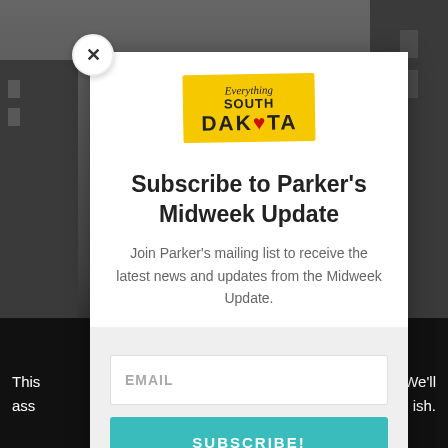[Figure (screenshot): Background: dark grayscale city building photograph with black bottom area containing partially visible white text on left and right edges.]
[Figure (logo): Everything South Dakota logo — yellow badge with italic script 'Everything' above bold uppercase 'SOUTH DAKOTA' with a red heart replacing the O in DAKOTA.]
Subscribe to Parker's Midweek Update
Join Parker's mailing list to receive the latest news and updates from the Midweek Update.
EMAIL
SUBSCRIBE!